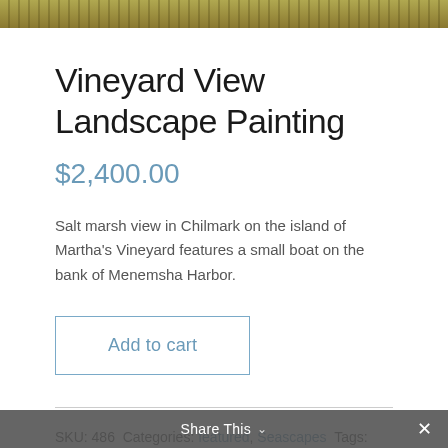[Figure (photo): Partial view of a landscape painting showing tall grasses or reeds in muted golden-green tones — top portion of the Vineyard View painting]
Vineyard View Landscape Painting
$2,400.00
Salt marsh view in Chilmark on the island of Martha’s Vineyard features a small boat on the bank of Menemsha Harbor.
Add to cart
SKU: 486  Categories: featured, Seascapes  Tags: Chilmark, coastal, coastal landscape, Martha’s Vineyard
Share This